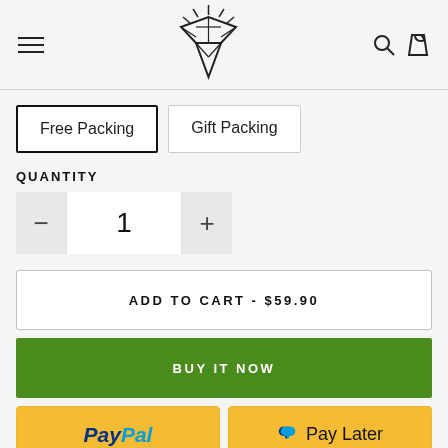[Figure (logo): Diamond-shaped geometric logo with starburst top and downward-pointing triangle bottom, flanked by hamburger menu icon on left and search/bag icons on right]
Free Packing
Gift Packing
QUANTITY
1
ADD TO CART - $59.90
BUY IT NOW
PayPal
Pay Later